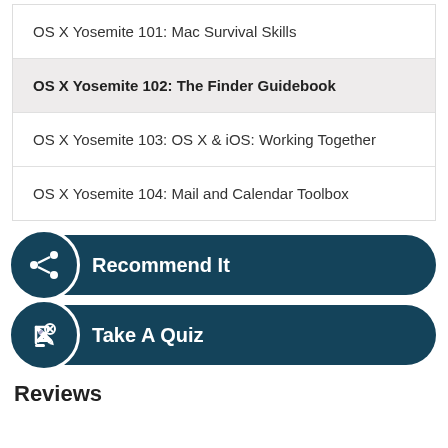OS X Yosemite 101: Mac Survival Skills
OS X Yosemite 102: The Finder Guidebook
OS X Yosemite 103: OS X & iOS: Working Together
OS X Yosemite 104: Mail and Calendar Toolbox
Recommend It
Take A Quiz
Reviews